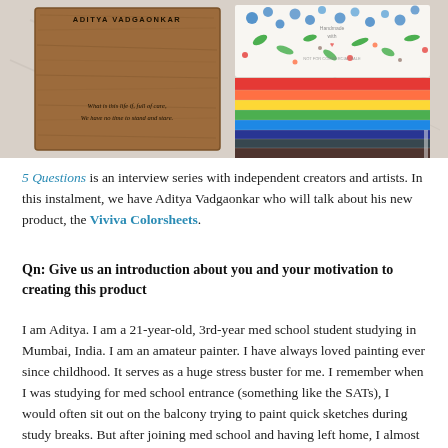[Figure (photo): Photo of two items on a marble surface: on the left, a wooden book/object engraved with 'ADITYA VADGAONKAR' and a quote 'What is this life if, full of care, We have no time to stand and stare.'; on the right, a floral-patterned box labeled 'Handmade with' and a stack of colorful crayon/paint sheets in rainbow colors.]
5 Questions is an interview series with independent creators and artists. In this instalment, we have Aditya Vadgaonkar who will talk about his new product, the Viviva Colorsheets.
Qn: Give us an introduction about you and your motivation to creating this product
I am Aditya. I am a 21-year-old, 3rd-year med school student studying in Mumbai, India. I am an amateur painter. I have always loved painting ever since childhood. It serves as a huge stress buster for me. I remember when I was studying for med school entrance (something like the SATs), I would often sit out on the balcony trying to paint quick sketches during study breaks. But after joining med school and having left home, I almost stopped painting. I was always on the